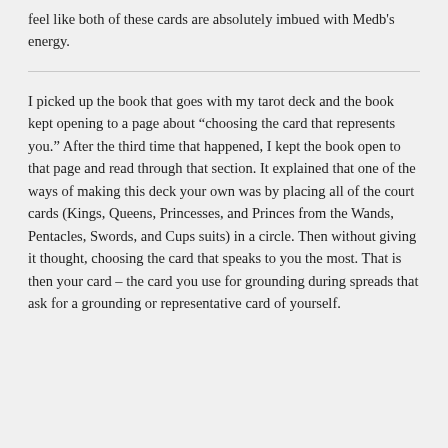feel like both of these cards are absolutely imbued with Medb's energy.
I picked up the book that goes with my tarot deck and the book kept opening to a page about “choosing the card that represents you.” After the third time that happened, I kept the book open to that page and read through that section. It explained that one of the ways of making this deck your own was by placing all of the court cards (Kings, Queens, Princesses, and Princes from the Wands, Pentacles, Swords, and Cups suits) in a circle. Then without giving it thought, choosing the card that speaks to you the most. That is then your card – the card you use for grounding during spreads that ask for a grounding or representative card of yourself.